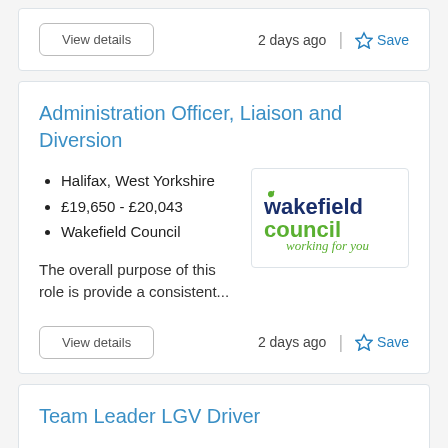View details
2 days ago  |  Save
Administration Officer, Liaison and Diversion
Halifax, West Yorkshire
£19,650 - £20,043
Wakefield Council
[Figure (logo): Wakefield Council logo — 'wakefield' in dark blue bold, 'council' in green, 'working for you' in green italic cursive]
The overall purpose of this role is provide a consistent...
View details
2 days ago  |  Save
Team Leader LGV Driver